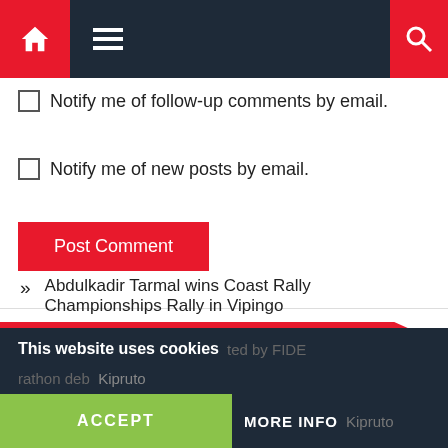Navigation bar with home, menu, and search icons
Notify me of follow-up comments by email.
Notify me of new posts by email.
Post Comment
RECENT POSTS
Kibugu, the best at Karen Challenge Trophy in Karen
Abdulkadir Tarmal wins Coast Rally Championships Rally in Vipingo
This website uses cookies | ted by FIDE | rathon deb Kipruto | ACCEPT | MORE INFO